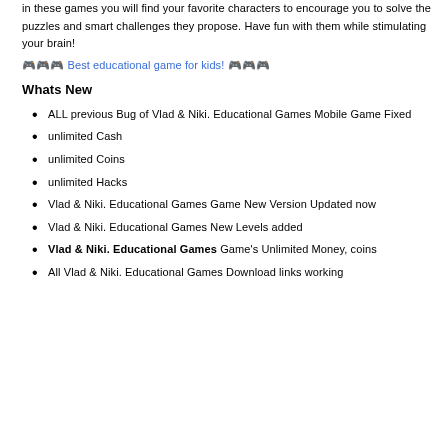in these games you will find your favorite characters to encourage you to solve the puzzles and smart challenges they propose. Have fun with them while stimulating your brain!
🎮🎮🎮 Best educational game for kids! 🎮🎮🎮
Whats New
ALL previous Bug of Vlad & Niki. Educational Games Mobile Game Fixed
unlimited Cash
unlimited Coins
unlimited Hacks
Vlad & Niki. Educational Games Game New Version Updated now
Vlad & Niki. Educational Games New Levels added
Vlad & Niki. Educational Games Game's Unlimited Money, coins
All Vlad & Niki. Educational Games Download links working